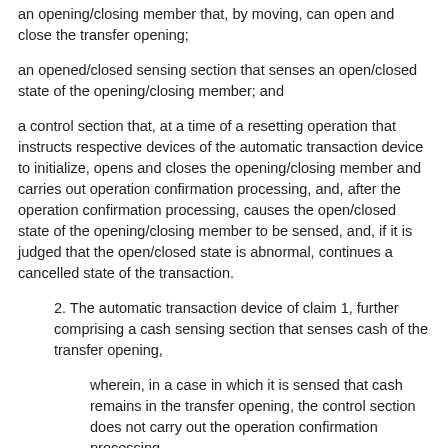an opening/closing member that, by moving, can open and close the transfer opening;
an opened/closed sensing section that senses an open/closed state of the opening/closing member; and
a control section that, at a time of a resetting operation that instructs respective devices of the automatic transaction device to initialize, opens and closes the opening/closing member and carries out operation confirmation processing, and, after the operation confirmation processing, causes the open/closed state of the opening/closing member to be sensed, and, if it is judged that the open/closed state is abnormal, continues a cancelled state of the transaction.
2. The automatic transaction device of claim 1, further comprising a cash sensing section that senses cash of the transfer opening,
wherein, in a case in which it is sensed that cash remains in the transfer opening, the control section does not carry out the operation confirmation processing.